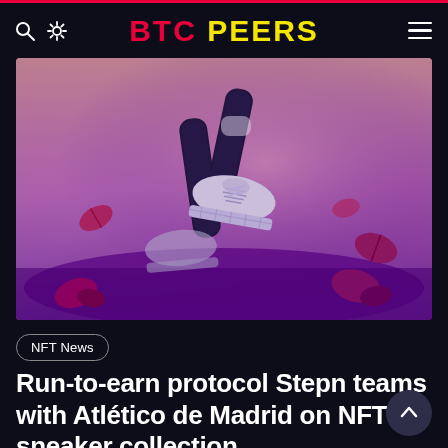BTC PEERS
[Figure (photo): Close-up photo of a running shoe mid-stride with autumn leaves on ground, toned with pink/purple gradient overlay]
NFT News
Run-to-earn protocol Stepn teams with Atlético de Madrid on NFT sneaker collection